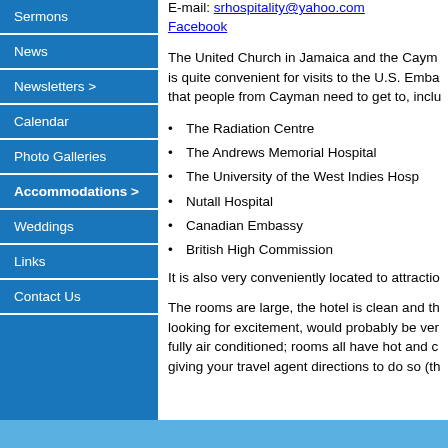Sermons
News
Newsletters >
Calendar
Photo Galleries
Accommodations >
Weddings
Links
Contact Us
E-mail: srhospitality@yahoo.com
Facebook
The United Church in Jamaica and the Caym is quite convenient for visits to the U.S. Emba that people from Cayman need to get to, inclu
The Radiation Centre
The Andrews Memorial Hospital
The University of the West Indies Hosp
Nutall Hospital
Canadian Embassy
British High Commission
It is also very conveniently located to attractio
The rooms are large, the hotel is clean and th looking for excitement, would probably be ver fully air conditioned; rooms all have hot and c giving your travel agent directions to do so (th